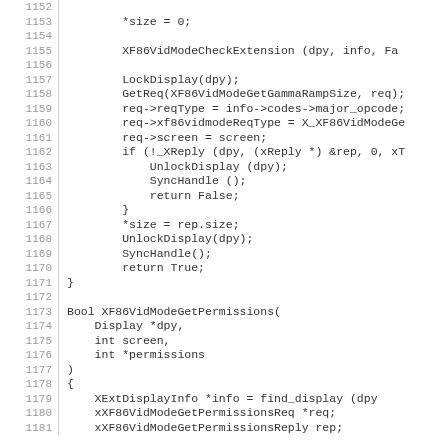Source code listing lines 1152-1181 showing C code for XF86VidMode functions including XF86VidModeGetGammaRampSize and XF86VidModeGetPermissions
1152: (blank)
1153:     *size = 0;
1154: (blank)
1155:     XF86VidModeCheckExtension (dpy, info, Fa
1156: (blank)
1157:     LockDisplay(dpy);
1158:     GetReq(XF86VidModeGetGammaRampSize, req);
1159:     req->reqType = info->codes->major_opcode;
1160:     req->xf86vidmodeReqType = X_XF86VidModeGe
1161:     req->screen = screen;
1162:     if (!_XReply (dpy, (xReply *) &rep, 0, xT
1163:         UnlockDisplay (dpy);
1164:         SyncHandle ();
1165:         return False;
1166:     }
1167:     *size = rep.size;
1168:     UnlockDisplay(dpy);
1169:     SyncHandle();
1170:     return True;
1171: }
1172: (blank)
1173: Bool XF86VidModeGetPermissions(
1174:     Display *dpy,
1175:     int screen,
1176:     int *permissions
1177: )
1178: {
1179:     XExtDisplayInfo *info = find_display (dpy
1180:     xXF86VidModeGetPermissionsReq *req;
1181:     xXF86VidModeGetPermissionsReply rep;